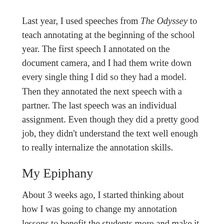Last year, I used speeches from The Odyssey to teach annotating at the beginning of the school year. The first speech I annotated on the document camera, and I had them write down every single thing I did so they had a model. Then they annotated the next speech with a partner. The last speech was an individual assignment. Even though they did a pretty good job, they didn't understand the text well enough to really internalize the annotation skills.
My Epiphany
About 3 weeks ago, I started thinking about how I was going to change my annotation lessons to benefit the students more and make it stick with them for the rest of the year. I decided that, since I'd never found a book or resource that worked for me, I had to create one myself.